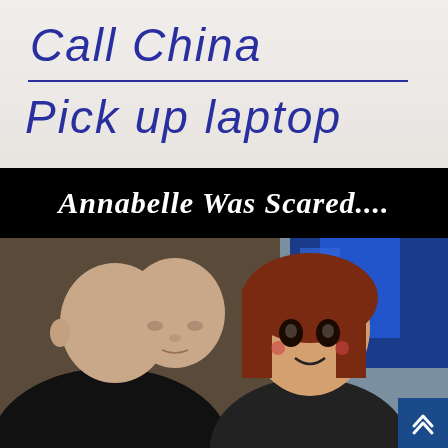[Figure (photo): Handwritten note on lined paper reading 'Call China' on first line with underline, and 'Pick up laptop' on second line, written in blue ink cursive script.]
Annabelle Was Scared....
[Figure (photo): Photo of an elderly bald man leaning close behind the Annabelle horror movie doll (reddish-brown hair, painted doll face with dark eyes and rosy cheeks). American flags visible in background. Small blue scroll-to-top button in bottom right corner.]